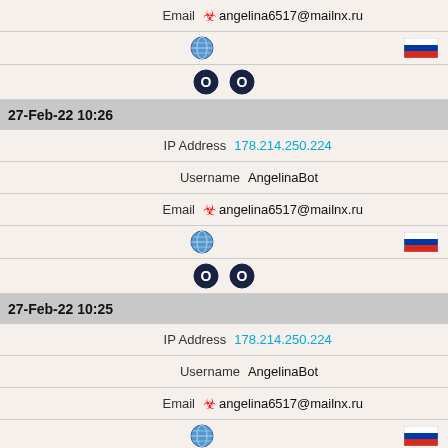Email ☣ angelina6517@mailnx.ru
[Figure (infographic): Globe icon on left, Russian flag icon on right]
[Figure (infographic): Two dark circle/O icons centered]
27-Feb-22 10:26
IP Address 178.214.250.224
Username AngelinaBot
Email ☣ angelina6517@mailnx.ru
[Figure (infographic): Globe icon on left, Russian flag icon on right]
[Figure (infographic): Two dark circle/O icons centered]
27-Feb-22 10:25
IP Address 178.214.250.224
Username AngelinaBot
Email ☣ angelina6517@mailnx.ru
[Figure (infographic): Globe icon on left, Russian flag icon on right]
[Figure (infographic): Two dark circle/O icons centered]
27-Feb-22 10:23
IP Address 178.214.250.224